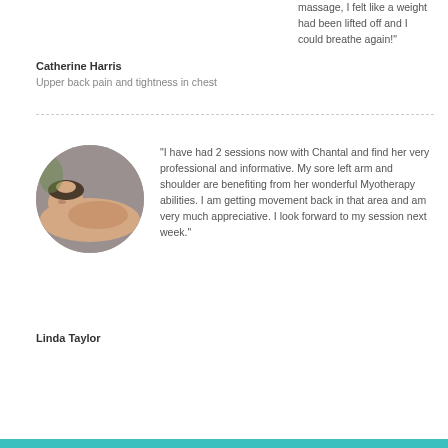“massage, I felt like a weight had been lifted off and I could breathe again!”
Catherine Harris
Upper back pain and tightness in chest
[Figure (photo): Circular profile photo of a person receiving a massage or therapy, lying down with eyes closed, in a clinical/spa setting.]
“I have had 2 sessions now with Chantal and find her very professional and informative. My sore left arm and shoulder are benefiting from her wonderful Myotherapy abilities. I am getting movement back in that area and am very much appreciative. I look forward to my session next week.”
Linda Taylor